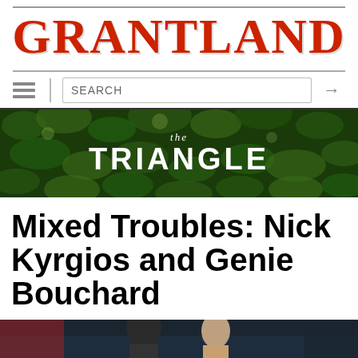GRANTLAND
[Figure (screenshot): Navigation bar with hamburger menu, search box, and arrow button]
[Figure (illustration): The Triangle banner with green leafy background and white text reading 'the TRIANGLE']
Mixed Troubles: Nick Kyrgios and Genie Bouchard
[Figure (photo): Photo of Nick Kyrgios and Genie Bouchard at a tennis event with crowd in background]